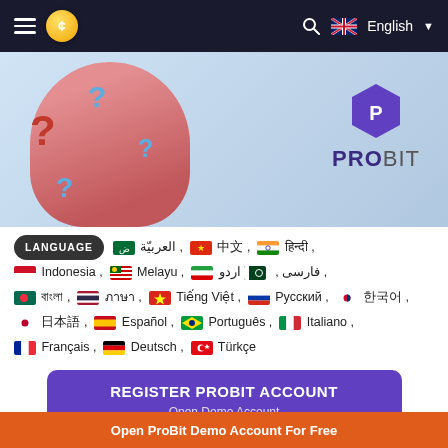≡  ¢  [search] English
[Figure (illustration): ProBit exchange banner showing a person with question marks and the ProBit logo with hexagonal icon]
LANGUAGE العربيّة , 中文 , हिन्दी , Indonesia , Melayu , فارسی , اردو , বাংলা , ภาษา , Tiếng Việt , Русский , 한국어 , 日本語 , Español , Português , Italiano , Français , Deutsch , Türkçe
REGISTER PROBIT ACCOUNT
Open Demo Account
Open ProBit Demo Account For Free